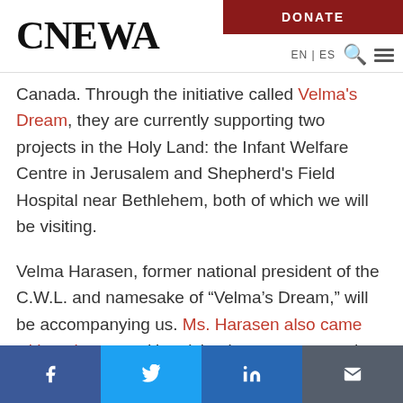CNEWA | DONATE | EN | ES
Canada. Through the initiative called Velma's Dream, they are currently supporting two projects in the Holy Land: the Infant Welfare Centre in Jerusalem and Shepherd's Field Hospital near Bethlehem, both of which we will be visiting.
Velma Harasen, former national president of the C.W.L. and namesake of “Velma’s Dream,” will be accompanying us. Ms. Harasen also came with us last year. Her vision is to encourage the Catholic Women's League to continue to support
Facebook | Twitter | LinkedIn | Email